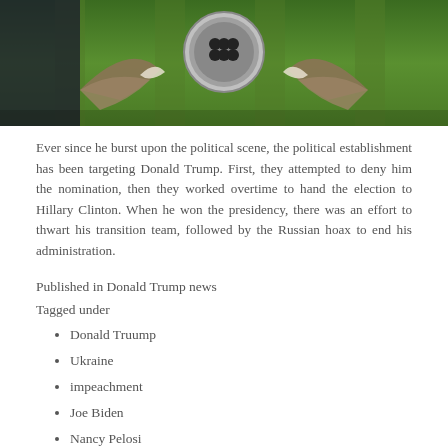[Figure (photo): A photograph showing what appears to be animals (possibly alligators or crocodiles) with open mouths flanking a circular drain or target on a green surface, with a person in a dark suit partially visible on the left.]
Ever since he burst upon the political scene, the political establishment has been targeting Donald Trump. First, they attempted to deny him the nomination, then they worked overtime to hand the election to Hillary Clinton. When he won the presidency, there was an effort to thwart his transition team, followed by the Russian hoax to end his administration.
Published in Donald Trump news
Tagged under
Donald Truump
Ukraine
impeachment
Joe Biden
Nancy Pelosi
Robert Mueller